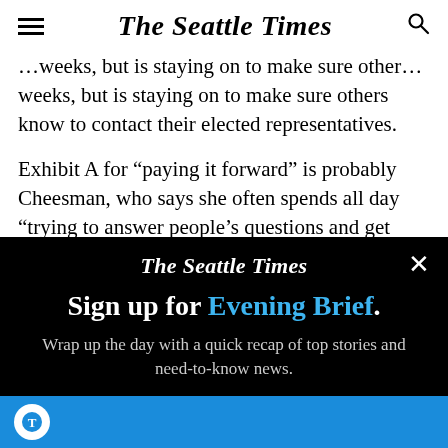The Seattle Times
weeks, but is staying on to make sure others know to contact their elected representatives.
Exhibit A for “paying it forward” is probably Cheesman, who says she often spends all day “trying to answer people’s questions and get them paid.” It’s “way too much” time, she admits, laughing.
[Figure (other): The Seattle Times newsletter signup modal overlay on black background. Shows The Seattle Times logo, headline 'Sign up for Evening Brief.' in white and blue text, subtext 'Wrap up the day with a quick recap of top stories and need-to-know news.' and a blue signup button at the bottom.]